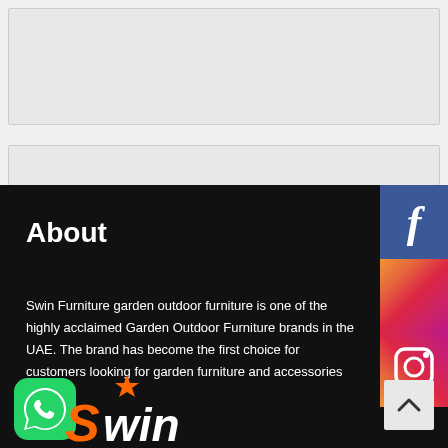[Figure (screenshot): Two placeholder/ad banner boxes with light grey background]
About
Swin Furniture garden outdoor furniture is one of the highly acclaimed Garden Outdoor Furniture brands in the UAE. The brand has become the first choice for customers looking for garden furniture and accessories
[Figure (logo): WhatsApp icon (green) and Swin furniture logo with orange S and white win text]
[Figure (infographic): Facebook button (blue with f icon) and Instagram button (gradient with camera icon) social media sidebar buttons]